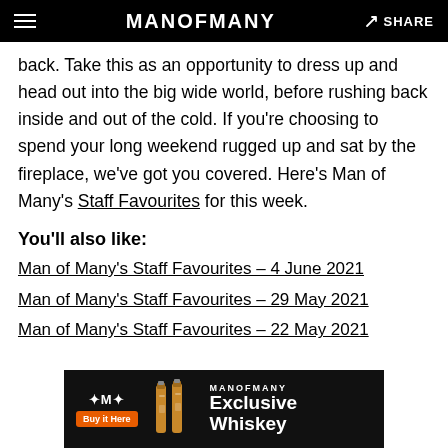MANOFMANY | SHARE
back. Take this as an opportunity to dress up and head out into the big wide world, before rushing back inside and out of the cold. If you're choosing to spend your long weekend rugged up and sat by the fireplace, we've got you covered. Here's Man of Many's Staff Favourites for this week.
You'll also like:
Man of Many's Staff Favourites – 4 June 2021
Man of Many's Staff Favourites – 29 May 2021
Man of Many's Staff Favourites – 22 May 2021
[Figure (infographic): Man of Many advertisement banner for Exclusive Whiskey with Buy It Here button and whiskey bottle images]